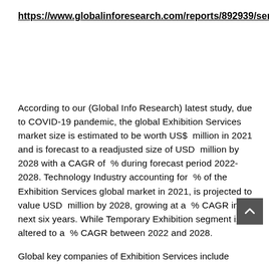https://www.globalinforesearch.com/reports/892939/services
According to our (Global Info Research) latest study, due to COVID-19 pandemic, the global Exhibition Services market size is estimated to be worth US$  million in 2021 and is forecast to a readjusted size of USD  million by 2028 with a CAGR of  % during forecast period 2022-2028. Technology Industry accounting for  % of the Exhibition Services global market in 2021, is projected to value USD  million by 2028, growing at a  % CAGR in next six years. While Temporary Exhibition segment is altered to a  % CAGR between 2022 and 2028.
Global key companies of Exhibition Services include